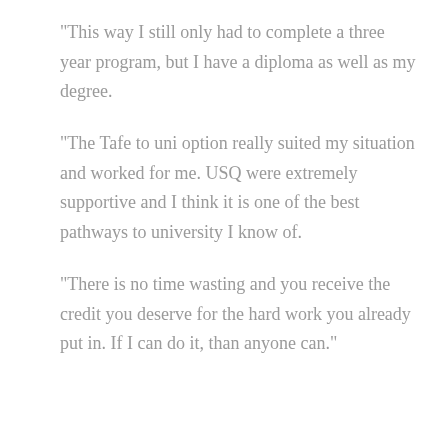“This way I still only had to complete a three year program, but I have a diploma as well as my degree.
“The Tafe to uni option really suited my situation and worked for me. USQ were extremely supportive and I think it is one of the best pathways to university I know of.
“There is no time wasting and you receive the credit you deserve for the hard work you already put in. If I can do it, than anyone can.”